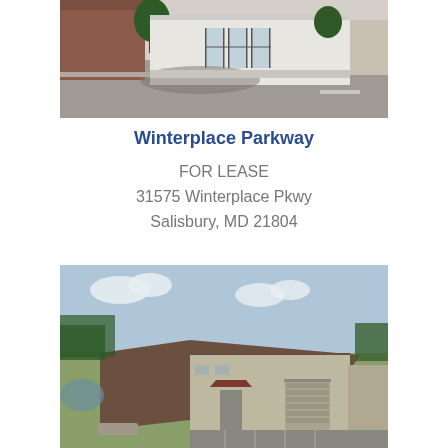[Figure (photo): Exterior photo of a commercial building with brick facade and white-framed glass entry doors, with a parking lot in the foreground]
Winterplace Parkway
FOR LEASE
31575 Winterplace Pkwy
Salisbury, MD 21804
[Figure (photo): Aerial exterior photo of a large beige metal commercial/industrial warehouse building with a brown roof, parking lot, and trees in the background]